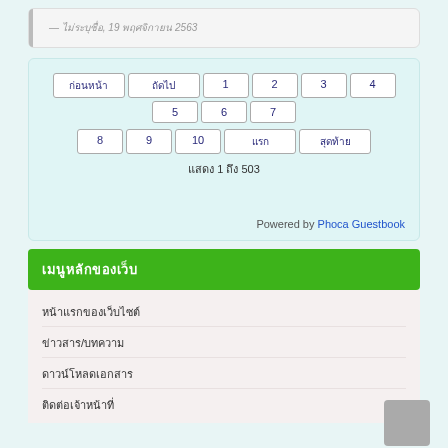— ไม่ระบุชื่อ, 19 พฤศจิกายน 2563
ก่อนหน้า  ถัดไป  1  2  3  4  5  6  7  8  9  10  แรก  สุดท้าย
แสดง 1 ถึง 503
Powered by Phoca Guestbook
เมนูหลักของเว็บ
หน้าแรกของเว็บไซต์
ข่าวสาร/บทความ
ดาวน์โหลดเอกสาร
ติดต่อเจ้าหน้าที่